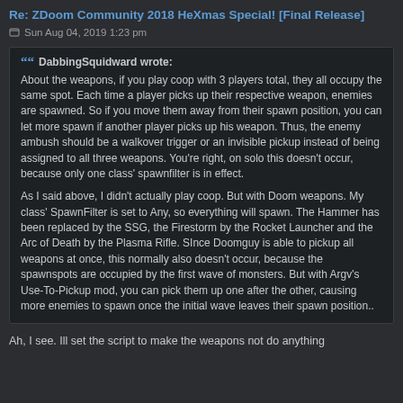Re: ZDoom Community 2018 HeXmas Special! [Final Release]
Sun Aug 04, 2019 1:23 pm
DabbingSquidward wrote: About the weapons, if you play coop with 3 players total, they all occupy the same spot. Each time a player picks up their respective weapon, enemies are spawned. So if you move them away from their spawn position, you can let more spawn if another player picks up his weapon. Thus, the enemy ambush should be a walkover trigger or an invisible pickup instead of being assigned to all three weapons. You're right, on solo this doesn't occur, because only one class' spawnfilter is in effect. As I said above, I didn't actually play coop. But with Doom weapons. My class' SpawnFilter is set to Any, so everything will spawn. The Hammer has been replaced by the SSG, the Firestorm by the Rocket Launcher and the Arc of Death by the Plasma Rifle. SInce Doomguy is able to pickup all weapons at once, this normally also doesn't occur, because the spawnspots are occupied by the first wave of monsters. But with Argv's Use-To-Pickup mod, you can pick them up one after the other, causing more enemies to spawn once the initial wave leaves their spawn position..
Ah, I see. Ill set the script to make the weapons not do anything